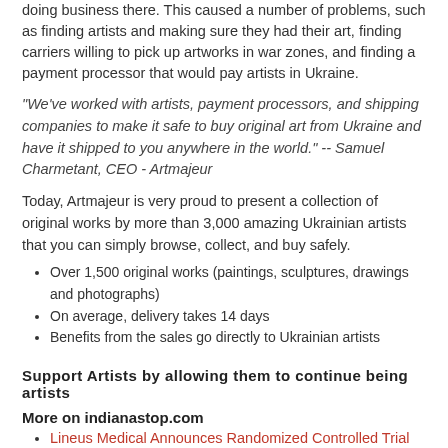doing business there. This caused a number of problems, such as finding artists and making sure they had their art, finding carriers willing to pick up artworks in war zones, and finding a payment processor that would pay artists in Ukraine.
"We've worked with artists, payment processors, and shipping companies to make it safe to buy original art from Ukraine and have it shipped to you anywhere in the world." -- Samuel Charmetant, CEO - Artmajeur
Today, Artmajeur is very proud to present a collection of original works by more than 3,000 amazing Ukrainian artists that you can simply browse, collect, and buy safely.
Over 1,500 original works (paintings, sculptures, drawings and photographs)
On average, delivery takes 14 days
Benefits from the sales go directly to Ukrainian artists
Support Artists by allowing them to continue being artists
More on indianastop.com
Lineus Medical Announces Randomized Controlled Trial Publication in